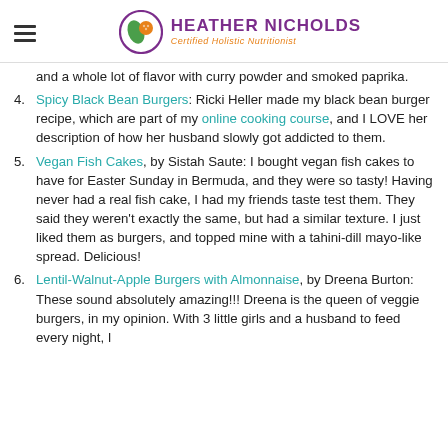HEATHER NICHOLDS Certified Holistic Nutritionist
and a whole lot of flavor with curry powder and smoked paprika.
4. Spicy Black Bean Burgers: Ricki Heller made my black bean burger recipe, which are part of my online cooking course, and I LOVE her description of how her husband slowly got addicted to them.
5. Vegan Fish Cakes, by Sistah Saute: I bought vegan fish cakes to have for Easter Sunday in Bermuda, and they were so tasty! Having never had a real fish cake, I had my friends taste test them. They said they weren't exactly the same, but had a similar texture. I just liked them as burgers, and topped mine with a tahini-dill mayo-like spread. Delicious!
6. Lentil-Walnut-Apple Burgers with Almonnaise, by Dreena Burton: These sound absolutely amazing!!! Dreena is the queen of veggie burgers, in my opinion. With 3 little girls and a husband to feed every night, I